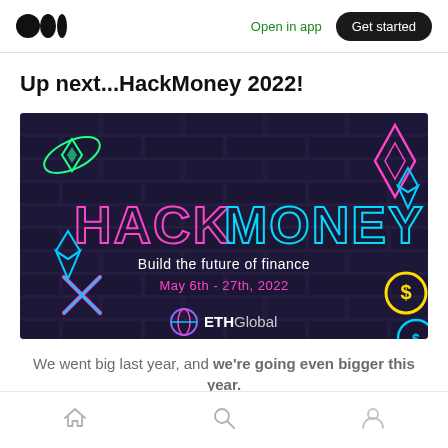Open in app | Get started
Up next...HackMoney 2022!
[Figure (screenshot): HackMoney 2022 promotional banner on dark brick background with neon text reading HACK MONEY, Build the future of finance, May 6th - 27th, 2022, ETHGlobal logo]
We went big last year, and we're going even bigger this year.
Home | Search | Profile navigation icons